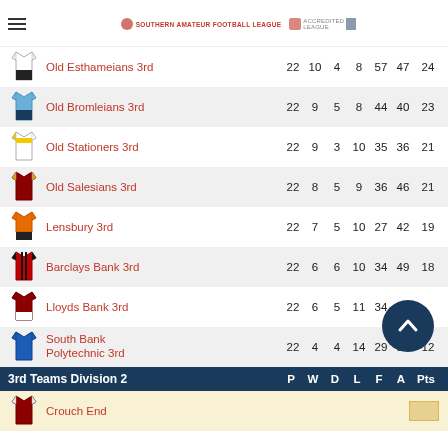Southern Amateur Football League | Accredited League
| Kit | Team | P | W | D | L | F | A | Pts |
| --- | --- | --- | --- | --- | --- | --- | --- | --- |
|  | Old Esthameians 3rd | 22 | 10 | 4 | 8 | 57 | 47 | 24 |
|  | Old Bromleians 3rd | 22 | 9 | 5 | 8 | 44 | 40 | 23 |
|  | Old Stationers 3rd | 22 | 9 | 3 | 10 | 35 | 36 | 21 |
|  | Old Salesians 3rd | 22 | 8 | 5 | 9 | 36 | 46 | 21 |
|  | Lensbury 3rd | 22 | 7 | 5 | 10 | 27 | 42 | 19 |
|  | Barclays Bank 3rd | 22 | 6 | 6 | 10 | 34 | 49 | 18 |
|  | Lloyds Bank 3rd | 22 | 6 | 5 | 11 | 34 | 35 |  |
|  | South Bank Polytechnic 3rd | 22 | 4 | 4 | 14 | 29 | 59 | 12 |
3rd Teams Division 2 — P W D L F A Pts
Crouch End